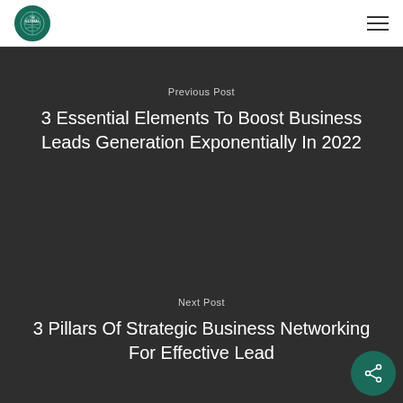[Figure (logo): Circular logo for The Global company in teal/green color]
Previous Post
3 Essential Elements To Boost Business Leads Generation Exponentially In 2022
Next Post
3 Pillars Of Strategic Business Networking For Effective Lead